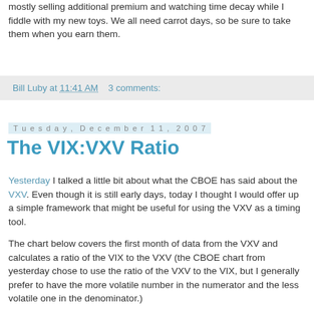mostly selling additional premium and watching time decay while I fiddle with my new toys. We all need carrot days, so be sure to take them when you earn them.
Bill Luby at 11:41 AM    3 comments:
Tuesday, December 11, 2007
The VIX:VXV Ratio
Yesterday I talked a little bit about what the CBOE has said about the VXV. Even though it is still early days, today I thought I would offer up a simple framework that might be useful for using the VXV as a timing tool.
The chart below covers the first month of data from the VXV and calculates a ratio of the VIX to the VXV (the CBOE chart from yesterday chose to use the ratio of the VXV to the VIX, but I generally prefer to have the more volatile number in the numerator and the less volatile one in the denominator.)